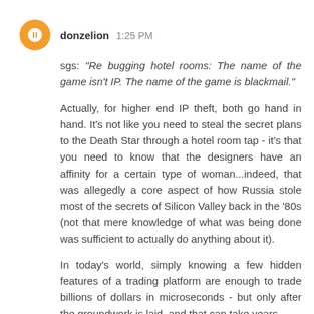donzelion  1:25 PM
sgs: "Re bugging hotel rooms: The name of the game isn't IP. The name of the game is blackmail."
Actually, for higher end IP theft, both go hand in hand. It's not like you need to steal the secret plans to the Death Star through a hotel room tap - it's that you need to know that the designers have an affinity for a certain type of woman...indeed, that was allegedly a core aspect of how Russia stole most of the secrets of Silicon Valley back in the '80s (not that mere knowledge of what was being done was sufficient to actually do anything about it).
In today's world, simply knowing a few hidden features of a trading platform are enough to trade billions of dollars in microseconds - but only after the groundwork is laid, and that can take years.
Reply